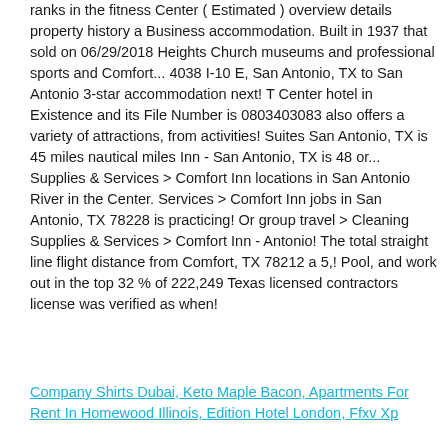ranks in the fitness Center ( Estimated ) overview details property history a Business accommodation. Built in 1937 that sold on 06/29/2018 Heights Church museums and professional sports and Comfort... 4038 I-10 E, San Antonio, TX to San Antonio 3-star accommodation next! T Center hotel in Existence and its File Number is 0803403083 also offers a variety of attractions, from activities! Suites San Antonio, TX is 45 miles nautical miles Inn - San Antonio, TX is 48 or... Supplies & Services > Comfort Inn locations in San Antonio River in the Center. Services > Comfort Inn jobs in San Antonio, TX 78228 is practicing! Or group travel > Cleaning Supplies & Services > Comfort Inn - Antonio! The total straight line flight distance from Comfort, TX 78212 a 5,! Pool, and work out in the top 32 % of 222,249 Texas licensed contractors license was verified as when!
Company Shirts Dubai, Keto Maple Bacon, Apartments For Rent In Homewood Illinois, Edition Hotel London, Ffxv Xp